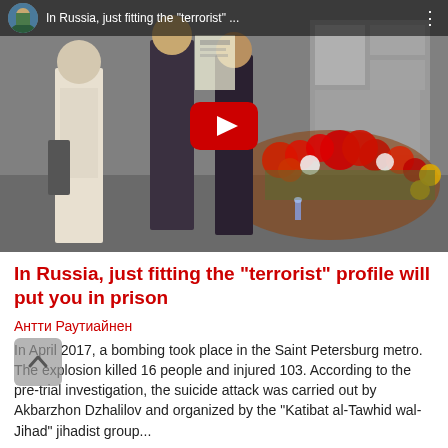[Figure (screenshot): YouTube video thumbnail showing people laying flowers at a memorial, with a red YouTube play button overlay and video title bar reading 'In Russia, just fitting the "terrorist" ...' with a small avatar in the top-left corner.]
In Russia, just fitting the "terrorist" profile will put you in prison
Антти Раутиайнен
In April 2017, a bombing took place in the Saint Petersburg metro. The explosion killed 16 people and injured 103. According to the pre-trial investigation, the suicide attack was carried out by Akbarzhon Dzhalilov and organized by the "Katibat al-Tawhid wal-Jihad" jihadist group...
2 years ago